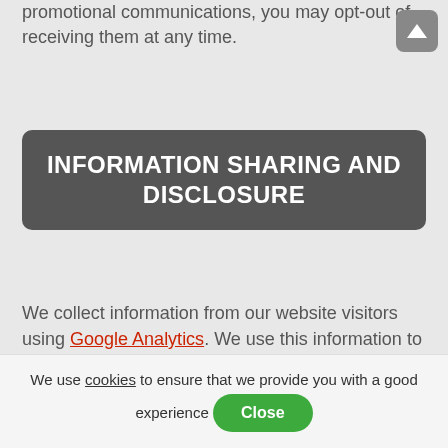promotional communications, you may opt-out of receiving them at any time.
INFORMATION SHARING AND DISCLOSURE
We collect information from our website visitors using Google Analytics. We use this information to better design our Web site and services. This information is never shared with any third party. We do not link aggregate user data with personally identifiable information.
PERSONALLY IDENTIFIABLE
We use cookies to ensure that we provide you with a good experience